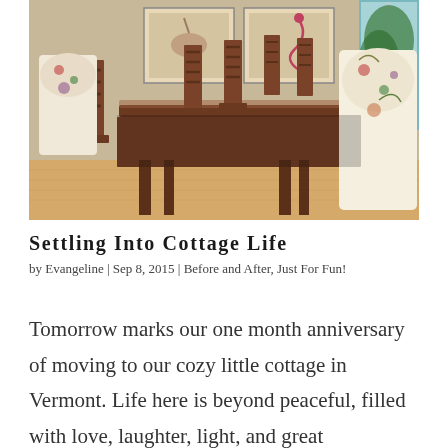[Figure (photo): Interior photo of a dining room with a large dark wood table surrounded by ornate wooden ladder-back chairs and two upholstered wingback chairs with floral fabric. Framed bird artwork hangs on the wall in the background, and natural light comes from windows on the right.]
Settling Into Cottage Life
by Evangeline | Sep 8, 2015 | Before and After, Just For Fun!
Tomorrow marks our one month anniversary of moving to our cozy little cottage in Vermont. Life here is beyond peaceful, filled with love, laughter, light, and great